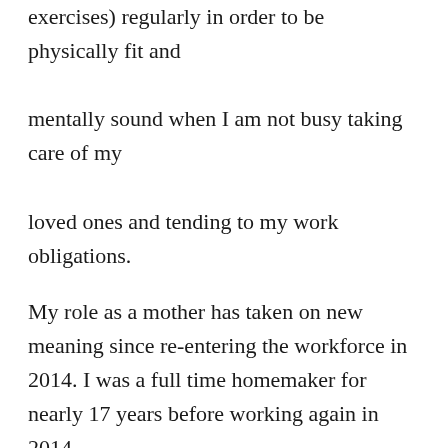exercises) regularly in order to be physically fit and mentally sound when I am not busy taking care of my loved ones and tending to my work obligations.
My role as a mother has taken on new meaning since re-entering the workforce in 2014. I was a full time homemaker for nearly 17 years before working again in 2014.
Since then, I've become involved in my children's activities on a volunteer basis, while trying to juggle my workload and balance my family time. I can thank my grandmother for teaching me the fundamentals of raising children, values that I hold true to my heart today.